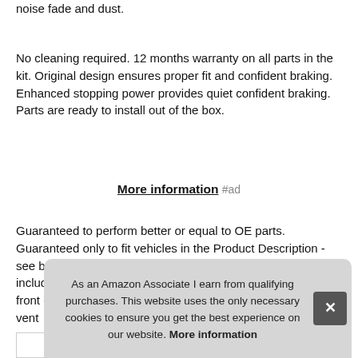noise fade and dust.
No cleaning required. 12 months warranty on all parts in the kit. Original design ensures proper fit and confident braking. Enhanced stopping power provides quiet confident braking. Parts are ready to install out of the box.
More information #ad
Guaranteed to perform better or equal to OE parts. Guaranteed only to fit vehicles in the Product Description - see below. Stainles steel quality hardware is included. Kit includes four 5 lug drilled & slotted premium brake rotors: front diam vent
As an Amazon Associate I earn from qualifying purchases. This website uses the only necessary cookies to ensure you get the best experience on our website. More information